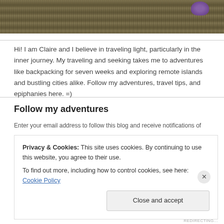[Figure (photo): Top portion of a bamboo/rattan surface texture with a purple circular accent in the upper right]
Hi! I am Claire and I believe in traveling light, particularly in the inner journey. My traveling and seeking takes me to adventures like backpacking for seven weeks and exploring remote islands and bustling cities alike. Follow my adventures, travel tips, and epiphanies here. =)
Follow my adventures
Enter your email address to follow this blog and receive notifications of
Privacy & Cookies: This site uses cookies. By continuing to use this website, you agree to their use.
To find out more, including how to control cookies, see here: Cookie Policy
Close and accept
REDIRECTING...